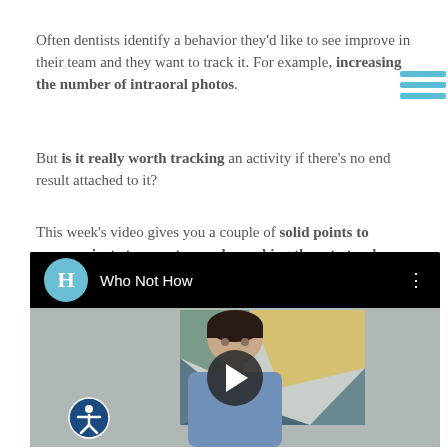Often dentists identify a behavior they'd like to see improve in their team and they want to track it. For example, increasing the number of intraoral photos.
But is it really worth tracking an activity if there's no end result attached to it?
This week's video gives you a couple of solid points to communicate to your team when asking them to track a particular task.
[Figure (screenshot): Embedded video player with black top bar showing a circular teal channel icon with letter H and title 'Who Not How', three-dot menu icon at right. Video thumbnail shows a woman with short dark hair in a blue jacket against a grey background with an abstract painting. A dark circular play button overlay is centered on the thumbnail. An accessibility icon (person in circle) appears at bottom left.]